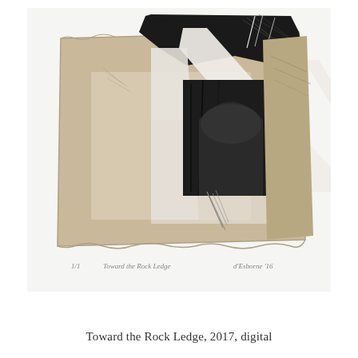[Figure (photo): A photograph of a mixed-media collage artwork titled 'Toward the Rock Ledge'. The piece features layered papers in tan/beige tones as a base, with overlaid black etching/printmaking elements showing abstract forms including diagonal white bands, dark textured areas resembling foliage or rock formations, and gestural marks. Below the image, handwritten text reads: '1/1  Toward the Rock Ledge  d'Esborne '16']
Toward the Rock Ledge, 2017, digital